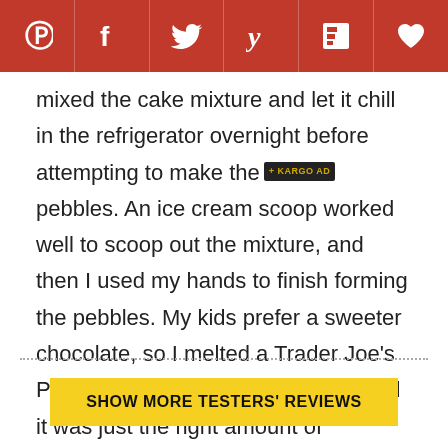[Figure (other): Social sharing toolbar with Pinterest, Facebook, Twitter, Yummly, Flipboard, and heart/save icons on a dark red background]
mixed the cake mixture and let it chill in the refrigerator overnight before attempting to make the pebbles. An ice cream scoop worked well to scoop out the mixture, and then I used my hands to finish forming the pebbles. My kids prefer a sweeter chocolate, so I melted a Trader Joe's Pound Plus bar in the microwave and it was just the right amount of chocolate. The dipping process was easy, and the pebbles held together well. The finished product didn't last long—these were delicious!
SHOW MORE TESTERS' REVIEWS